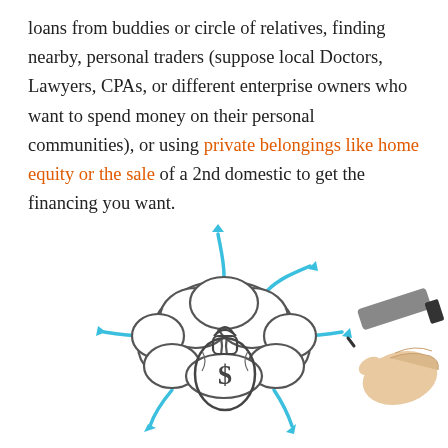loans from buddies or circle of relatives, finding nearby, personal traders (suppose local Doctors, Lawyers, CPAs, or different enterprise owners who want to spend money on their personal communities), or using private belongings like home equity or the sale of a 2nd domestic to get the financing you want.
[Figure (illustration): A hand holding a marker drawing a thought bubble / cloud shape containing a money bag with a dollar sign, surrounded by blue arrows pointing outward in multiple directions on a white background.]